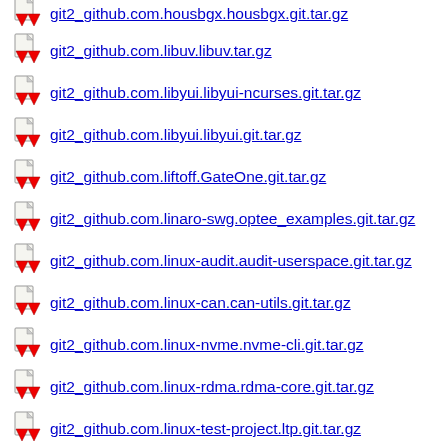git2_github.com.libuv.libuv.tar.gz
git2_github.com.libyui.libyui-ncurses.git.tar.gz
git2_github.com.libyui.libyui.git.tar.gz
git2_github.com.liftoff.GateOne.git.tar.gz
git2_github.com.linaro-swg.optee_examples.git.tar.gz
git2_github.com.linux-audit.audit-userspace.git.tar.gz
git2_github.com.linux-can.can-utils.git.tar.gz
git2_github.com.linux-nvme.nvme-cli.git.tar.gz
git2_github.com.linux-rdma.rdma-core.git.tar.gz
git2_github.com.linux-test-project.ltp.git.tar.gz
git2_github.com.linux-wpan.wpan-tools.tar.gz